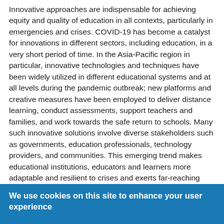Innovative approaches are indispensable for achieving equity and quality of education in all contexts, particularly in emergencies and crises. COVID-19 has become a catalyst for innovations in different sectors, including education, in a very short period of time. In the Asia-Pacific region in particular, innovative technologies and techniques have been widely utilized in different educational systems and at all levels during the pandemic outbreak; new platforms and creative measures have been employed to deliver distance learning, conduct assessments, support teachers and families, and work towards the safe return to schools. Many such innovative solutions involve diverse stakeholders such as governments, education professionals, technology providers, and communities. This emerging trend makes educational institutions, educators and learners more adaptable and resilient to crises and exerts far-reaching impacts on future education.
Against the background of the COVID-19 pandemic and in
We use cookies on this site to enhance your user experience